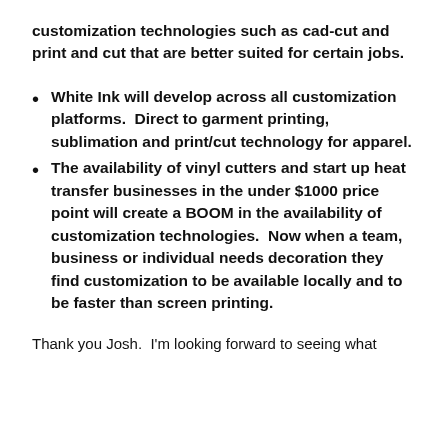customization technologies such as cad-cut and print and cut that are better suited for certain jobs.
White Ink will develop across all customization platforms. Direct to garment printing, sublimation and print/cut technology for apparel.
The availability of vinyl cutters and start up heat transfer businesses in the under $1000 price point will create a BOOM in the availability of customization technologies. Now when a team, business or individual needs decoration they find customization to be available locally and to be faster than screen printing.
Thank you Josh. I'm looking forward to seeing what